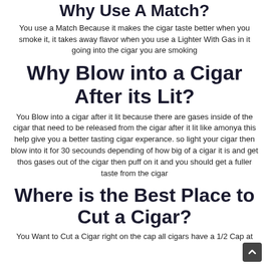Why Use A Match?
You use a Match Because it makes the cigar taste better when you smoke it, it takes away flavor when you use a Lighter With Gas in it going into the cigar you are smoking
Why Blow into a Cigar After its Lit?
You Blow into a cigar after it lit because there are gases inside of the cigar that need to be released from the cigar after it lit like amonya this help give you a better tasting cigar experance. so light your cigar then blow into it for 30 secounds depending of how big of a cigar it is and get thos gases out of the cigar then puff on it and you should get a fuller taste from the cigar
Where is the Best Place to Cut a Cigar?
You Want to Cut a Cigar right on the cap all cigars have a 1/2 Cap at